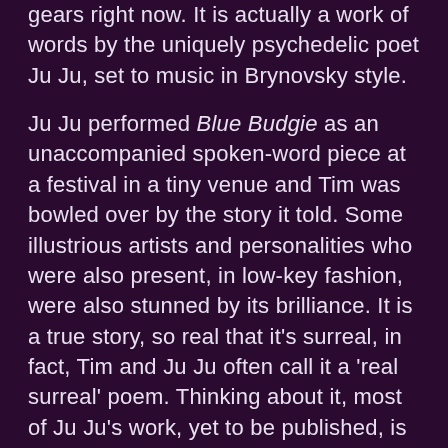gears right now. It is actually a work of words by the uniquely psychedelic poet Ju Ju, set to music in Brynovsky style.
Ju Ju performed Blue Budgie as an unaccompanied spoken-word piece at a festival in a tiny venue and Tim was bowled over by the story it told. Some illustrious artists and personalities who were also present, in low-key fashion, were also stunned by its brilliance. It is a true story, so real that it's surreal, in fact, Tim and Ju Ju often call it a 'real surreal' poem. Thinking about it, most of Ju Ju's work, yet to be published, is also 'Real Surreal'. Put that in your blog and post it.
A-n-y-w-a-y, Brynovsky and Ju Ju liked the resulting track so much that they decided to make a video reflecting the ambiguous moral of the tale which could go something along the lines of: when you're hitching